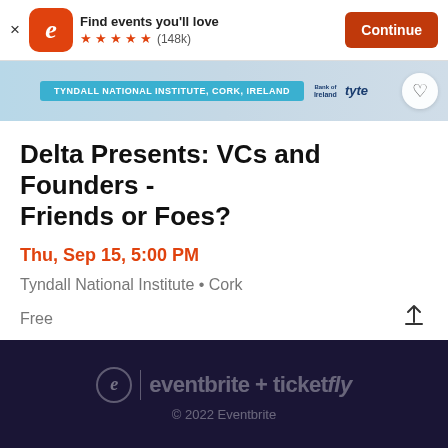[Figure (screenshot): App store banner with Eventbrite logo, 'Find events you'll love', 5 orange stars, (148k) rating, and orange Continue button]
[Figure (photo): Event header image strip with 'TYNDALL NATIONAL INSTITUTE, CORK, IRELAND' blue label, Bank of Ireland and Tyte logos, and a heart/favorite button]
Delta Presents: VCs and Founders - Friends or Foes?
Thu, Sep 15, 5:00 PM
Tyndall National Institute • Cork
Free
eventbrite + ticketfly
© 2022 Eventbrite